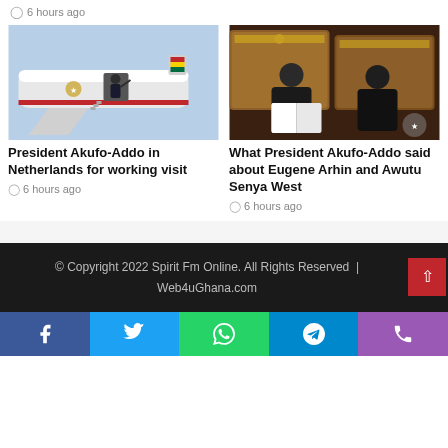6 hours ago
[Figure (photo): Man in suit waving from airplane door, Ghana flag visible on tail, military aircraft markings]
President Akufo-Addo in Netherlands for working visit
6 hours ago
[Figure (photo): Two men in suits sitting in ornate chairs reviewing a document together, Ghana coat of arms visible]
What President Akufo-Addo said about Eugene Arhin and Awutu Senya West
6 hours ago
© Copyright 2022 Spirit Fm Online. All Rights Reserved | Web4uGhana.com